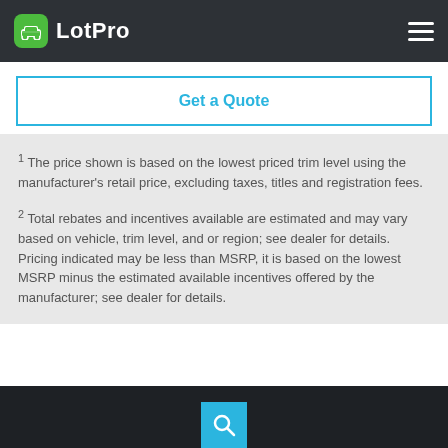LotPro
Get a Quote
1 The price shown is based on the lowest priced trim level using the manufacturer's retail price, excluding taxes, titles and registration fees.
2 Total rebates and incentives available are estimated and may vary based on vehicle, trim level, and or region; see dealer for details. Pricing indicated may be less than MSRP, it is based on the lowest MSRP minus the estimated available incentives offered by the manufacturer; see dealer for details.